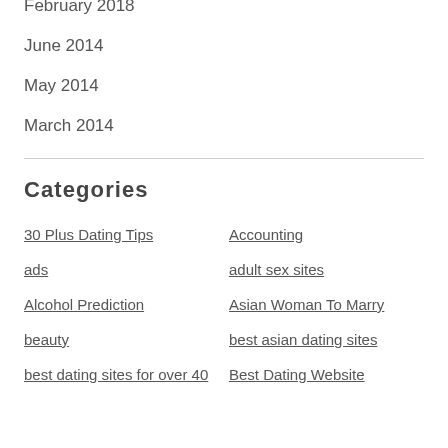February 2018
June 2014
May 2014
March 2014
Categories
30 Plus Dating Tips
Accounting
ads
adult sex sites
Alcohol Prediction
Asian Woman To Marry
beauty
best asian dating sites
best dating sites for over 40
Best Dating Website